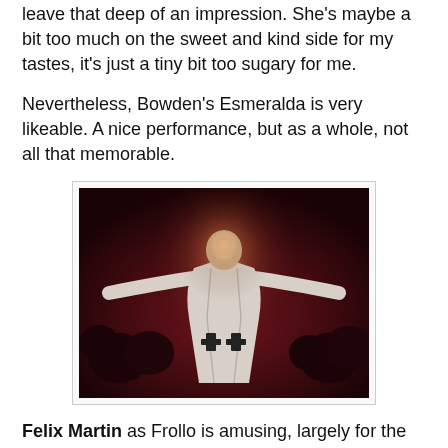leave that deep of an impression. She's maybe a bit too much on the sweet and kind side for my tastes, it's just a tiny bit too sugary for me.
Nevertheless, Bowden's Esmeralda is very likeable. A nice performance, but as a whole, not all that memorable.
[Figure (photo): A theatrical performer on stage in a white clerical/religious robe with black crosses, arms outstretched wide, lit by dramatic red/purple lighting with audience or chorus members visible in the background.]
Felix Martin as Frollo is amusing, largely for the wrong reasons.
To be honest, instead of a conflicted Catholic priest, he seems to be channeling a campy version of Count Dracula, chewing the scenery left and right. A total Disney villain! It's